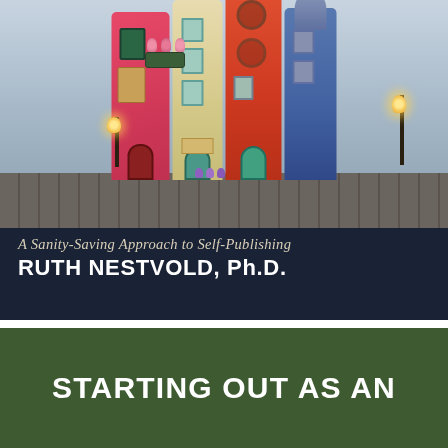[Figure (illustration): Book cover illustration: colorful books shaped like buildings/houses arranged as a street scene on cobblestones, with lamp posts and flower boxes, misty atmospheric background]
A Sanity-Saving Approach to Self-Publishing
RUTH NESTVOLD, Ph.D.
STARTING OUT AS AN